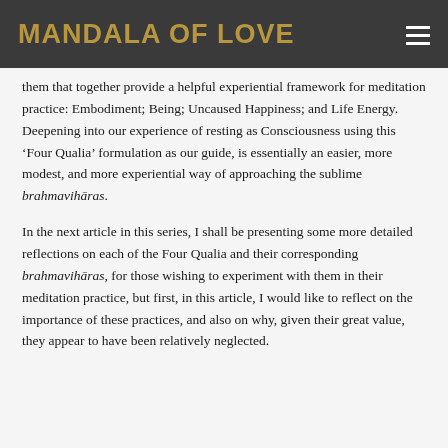MANDALA OF LOVE
them that together provide a helpful experiential framework for meditation practice: Embodiment; Being; Uncaused Happiness; and Life Energy. Deepening into our experience of resting as Consciousness using this 'Four Qualia' formulation as our guide, is essentially an easier, more modest, and more experiential way of approaching the sublime brahmavihāras.
In the next article in this series, I shall be presenting some more detailed reflections on each of the Four Qualia and their corresponding brahmavihāras, for those wishing to experiment with them in their meditation practice, but first, in this article, I would like to reflect on the importance of these practices, and also on why, given their great value, they appear to have been relatively neglected.